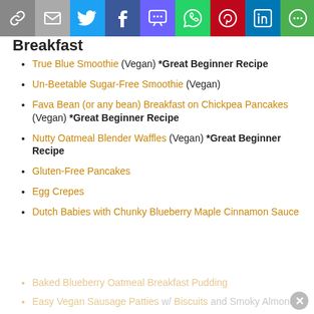[Figure (other): Social sharing bar with icons: link, email, Twitter, Facebook, SMS, WhatsApp, Pinterest, LinkedIn, More]
Breakfast
True Blue Smoothie (Vegan) *Great Beginner Recipe
Un-Beetable Sugar-Free Smoothie (Vegan)
Fava Bean (or any bean) Breakfast on Chickpea Pancakes (Vegan) *Great Beginner Recipe
Nutty Oatmeal Blender Waffles (Vegan) *Great Beginner Recipe
Gluten-Free Pancakes
Egg Crepes
Dutch Babies with Chunky Blueberry Maple Cinnamon Sauce
Baked Blueberry Oatmeal Breakfast Pudding
Easy Vegan Sausage Patties w/ Biscuits and Smoky Almond...